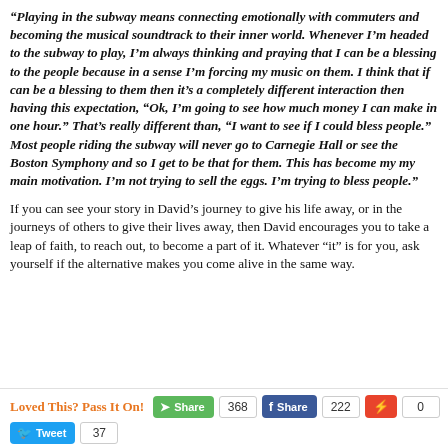“Playing in the subway means connecting emotionally with commuters and becoming the musical soundtrack to their inner world. Whenever I’m headed to the subway to play, I’m always thinking and praying that I can be a blessing to the people because in a sense I’m forcing my music on them. I think that if can be a blessing to them then it’s a completely different interaction then having this expectation, "Ok, I’m going to see how much money I can make in one hour.” That’s really different than, “I want to see if I could bless people.” Most people riding the subway will never go to Carnegie Hall or see the Boston Symphony and so I get to be that for them. This has become my my main motivation. I’m not trying to sell the eggs. I’m trying to bless people.”
If you can see your story in David’s journey to give his life away, or in the journeys of others to give their lives away, then David encourages you to take a leap of faith, to reach out, to become a part of it. Whatever “it” is for you, ask yourself if the alternative makes you come alive in the same way.
Loved This? Pass It On! Share 368 Share 222 0 Tweet 37